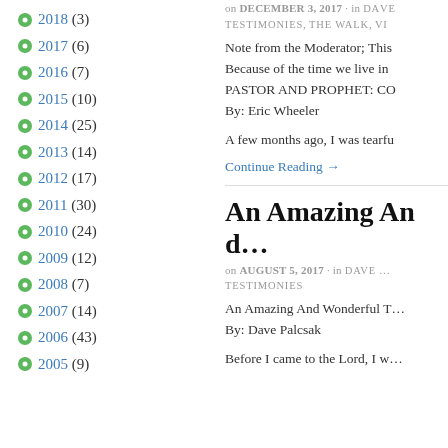2018 (3)
2017 (6)
2016 (7)
2015 (10)
2014 (25)
2013 (14)
2012 (17)
2011 (30)
2010 (24)
2009 (12)
2008 (7)
2007 (14)
2006 (43)
2005 (9)
on DECEMBER 3, 2017 · in DAVE… TESTIMONIES, THE WALK, VI…
Note from the Moderator; This Because of the time we live in PASTOR AND PROPHET: C… By: Eric Wheeler
A few months ago, I was tearfu
Continue Reading →
An Amazing And…
on AUGUST 5, 2017 · in DAVE… TESTIMONIES
An Amazing And Wonderful T… By: Dave Palcsak
Before I came to the Lord, I w…